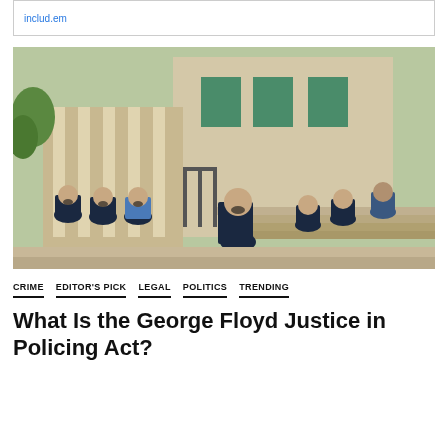includ.em
[Figure (photo): Multiple police officers in uniform wearing face masks kneeling on one knee in front of a stone building with green windows, in a gesture of solidarity during a George Floyd protest.]
CRIME   EDITOR'S PICK   LEGAL   POLITICS   TRENDING
What Is the George Floyd Justice in Policing Act?